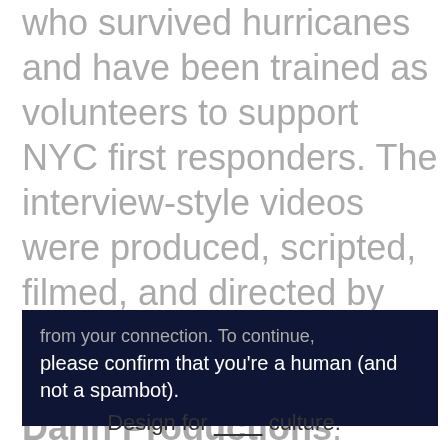who survived hurricanes and have been trained as volunteers to support NYC first responders. The interview-style videos were produced, scripted, filmed, and directed by C&G Partners in conjunction with Cruz Dann Productions.
from your connection. To continue, please confirm that you’re a human (and not a spambot).
Design for ________ culture.